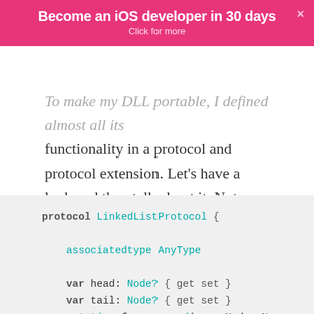Become an iOS developer in 30 days
Click for more
To make my DLL portable, I defined almost all its functionality in a protocol and protocol extension. Let's have a look and then talk about it. Note that we won't look at the protocol extension's contents until later:
protocol LinkedListProtocol {
    associatedtype AnyType

    var head: Node? { get set }
    var tail: Node? { get set }
    mutating func append(_ newNode: N
    mutating func insert(_ newNode: N